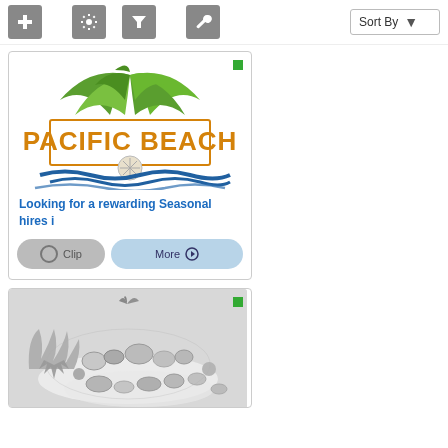[Figure (screenshot): Toolbar with plus, settings (gear), filter (funnel), wrench buttons and Sort By dropdown]
[Figure (logo): Pacific Beach logo with green palm leaves, sand dollar, blue waves, and orange text reading PACIFIC BEACH]
Looking for a rewarding Seasonal hires i
[Figure (screenshot): Clip button (gray, rounded) and More button (light blue, rounded) inside card]
[Figure (photo): Black and white photograph of seashells, starfish and coral arranged on a white cloth]